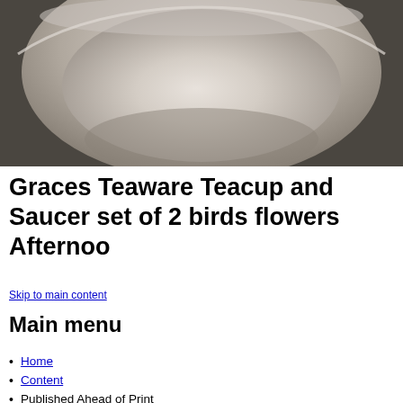[Figure (photo): Close-up photo of the inside of a white/beige ceramic teacup or bowl, showing the curved interior surface with soft shadowing.]
Graces Teaware Teacup and Saucer set of 2 birds flowers Afternoo
Skip to main content
Main menu
Home
Content
Published Ahead of Print